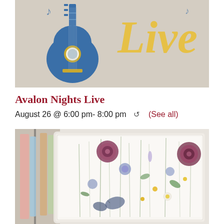[Figure (photo): Blue guitar illustration with yellow 'Live' text on a beige/tan background - event promotional image for Avalon Nights Live]
Avalon Nights Live
August 26 @ 6:00 pm- 8:00 pm  ↺  (See all)
[Figure (photo): Pressed flower artwork in a white ornate frame showing colorful wildflowers, butterflies, and botanical specimens on a white background]